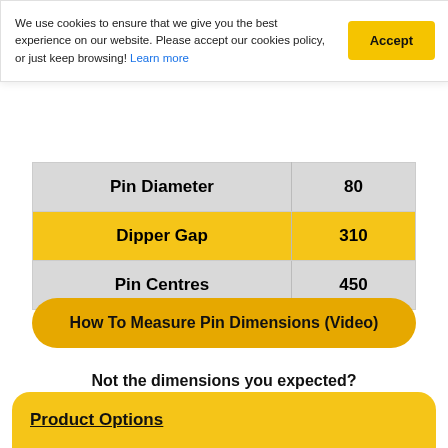We use cookies to ensure that we give you the best experience on our website. Please accept our cookies policy, or just keep browsing! Learn more
|  |  |
| --- | --- |
| Pin Diameter | 80 |
| Dipper Gap | 310 |
| Pin Centres | 450 |
How To Measure Pin Dimensions (Video)
Not the dimensions you expected?
Click here to search by pin dimensions
Product Options
Teeth/Blade Options: Toothed Bucket